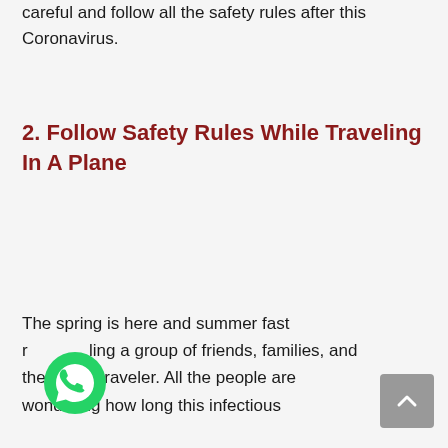careful and follow all the safety rules after this Coronavirus.
2. Follow Safety Rules While Traveling In A Plane
The spring is here and summer fast re...ling a group of friends, families, and the single traveler. All the people are wondering how long this infectious